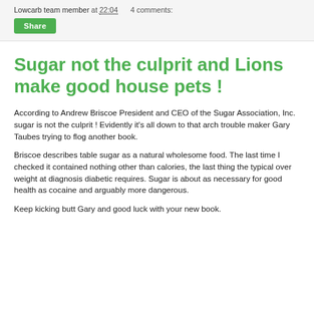Lowcarb team member at 22:04    4 comments:
Share
Sugar not the culprit and Lions make good house pets !
According to Andrew Briscoe President and CEO of the Sugar Association, Inc. sugar is not the culprit ! Evidently it's all down to that arch trouble maker Gary Taubes trying to flog another book.
Briscoe describes table sugar as a natural wholesome food. The last time I checked it contained nothing other than calories, the last thing the typical over weight at diagnosis diabetic requires. Sugar is about as necessary for good health as cocaine and arguably more dangerous.
Keep kicking butt Gary and good luck with your new book.